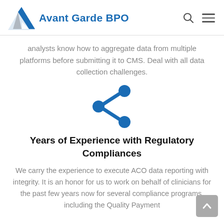Avant Garde BPO
analysts know how to aggregate data from multiple platforms before submitting it to CMS. Deal with all data collection challenges.
[Figure (illustration): Blue share/network icon with three connected circles and two angled lines forming a share symbol]
Years of Experience with Regulatory Compliances
We carry the experience to execute ACO data reporting with integrity. It is an honor for us to work on behalf of clinicians for the past few years now for several compliance programs, including the Quality Payment